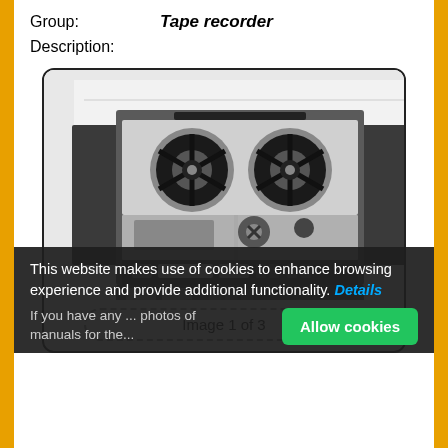Group:    Tape recorder
Description:
[Figure (photo): Black and white photograph of a reel-to-reel tape recorder with two large reels on top, transport controls and VU meters in the lower section, and cabinet side panels open.]
Image 1 of 3
This website makes use of cookies to enhance browsing experience and provide additional functionality. Details
If you have any ... manuals for the...
Allow cookies